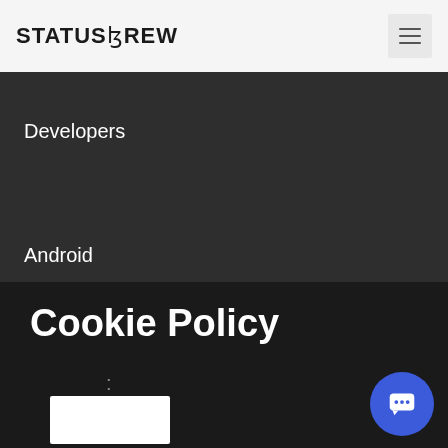STATUSBREW
Developers
Android
Cookie Policy
[Figure (other): White rectangular content box placeholder]
[Figure (other): Blue circular chat/support button with speech bubble icon]